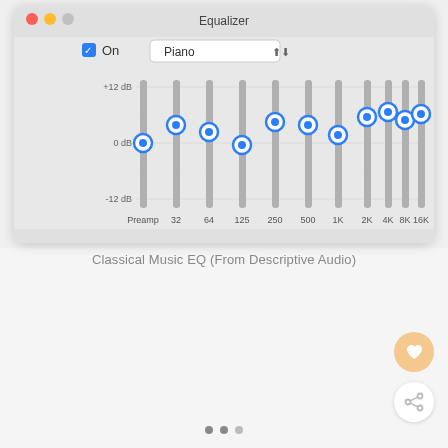[Figure (screenshot): macOS Equalizer window showing 'Piano' preset with sliders for Preamp, 32, 64, 125, 250, 500, 1K, 2K, 4K, 8K, 16K frequency bands. Labels show +12 dB, 0 dB, -12 dB. On checkbox is checked. Most sliders are positioned above 0 dB.]
Classical Music EQ (From Descriptive Audio)